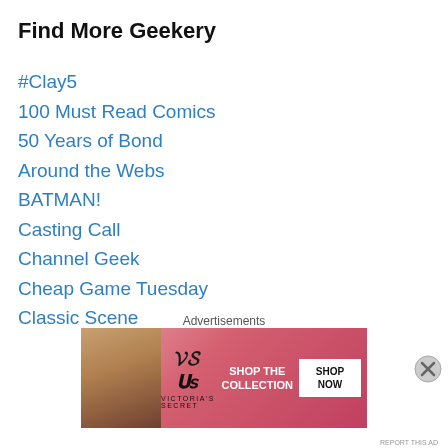Find More Geekery
#Clay5
100 Must Read Comics
50 Years of Bond
Around the Webs
BATMAN!
Casting Call
Channel Geek
Cheap Game Tuesday
Classic Scene
Convention
Cosplay
Doctor Who
Food and Drink
Gaming: A Legitimate Hobby
[Figure (photo): Victoria's Secret advertisement banner with woman model, VS logo, 'SHOP THE COLLECTION' text, and 'SHOP NOW' button]
Advertisements